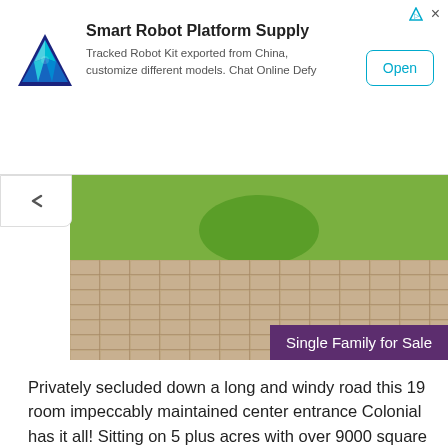[Figure (screenshot): Advertisement banner for Smart Robot Platform Supply with blue triangle logo and Open button]
[Figure (photo): Property photo showing circular brick paved driveway with green grass landscaping, Single Family for Sale badge]
Privately secluded down a long and windy road this 19 room impeccably maintained center entrance Colonial has it all! Sitting on 5 plus acres with over 9000 square feet of living area this spacious...
$4,995,000  10  8+  13,579 sq ft
1 Dexter Lane, Manchester, MA 01944